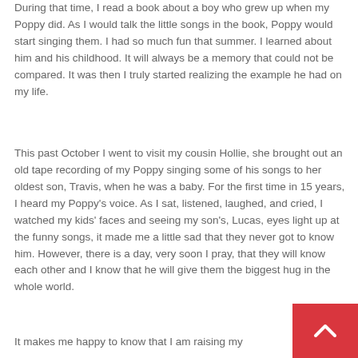During that time, I read a book about a boy who grew up when my Poppy did.  As I would talk the little songs in the book, Poppy would start singing them.  I had so much fun that summer. I learned about him and his childhood. It will always be a memory that could not be compared.  It was then I truly started realizing the example he had on my life.
This past October I went to visit my cousin Hollie, she brought out an old tape recording of my Poppy singing some of his songs to her oldest son, Travis, when he was a baby.  For the first time in 15 years, I heard my Poppy's voice.  As I sat, listened, laughed, and cried, I watched my kids' faces and seeing my son's, Lucas, eyes light up at the funny songs, it made me a little sad that they never got to know him.  However, there is a day, very soon I pray, that they will know each other and I know that he will give them the biggest hug in the whole world.
It makes me happy to know that I am raising my
[Figure (other): Red scroll-to-top button with upward-pointing chevron arrow icon]